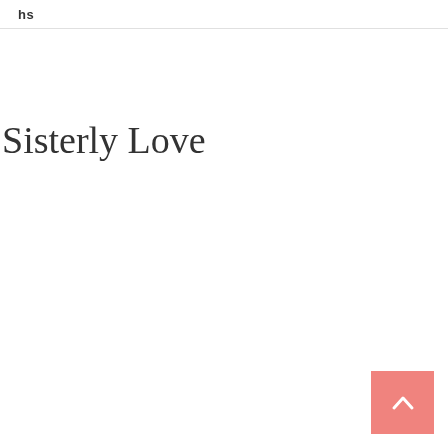hs
Sisterly Love
[Figure (other): Back to top button — pink/salmon square with white upward-pointing chevron/caret arrow]